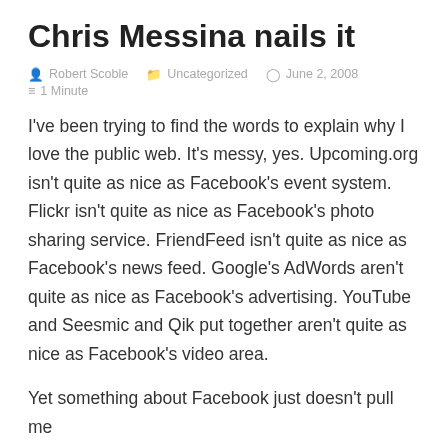Chris Messina nails it
Robert Scoble   Uncategorized   June 2, 2008   1 Minute
I've been trying to find the words to explain why I love the public web. It's messy, yes. Upcoming.org isn't quite as nice as Facebook's event system. Flickr isn't quite as nice as Facebook's photo sharing service. FriendFeed isn't quite as nice as Facebook's news feed. Google's AdWords aren't quite as nice as Facebook's advertising. YouTube and Seesmic and Qik put together aren't quite as nice as Facebook's video area.
Yet something about Facebook just doesn't pull me